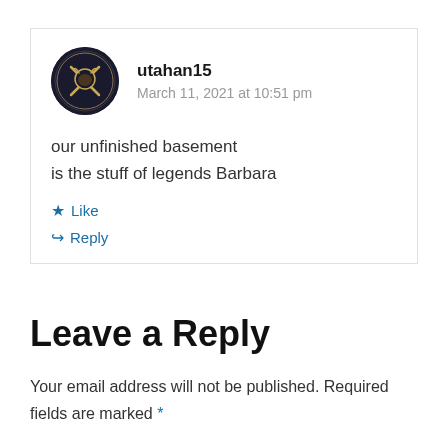[Figure (illustration): Circular avatar with dark navy background showing the Buffalo Sabres NHL team logo (crossed sabres with buffalo head)]
utahan15
March 11, 2021 at 10:51 pm
our unfinished basement
is the stuff of legends Barbara
★ Like
↪ Reply
Leave a Reply
Your email address will not be published. Required fields are marked *